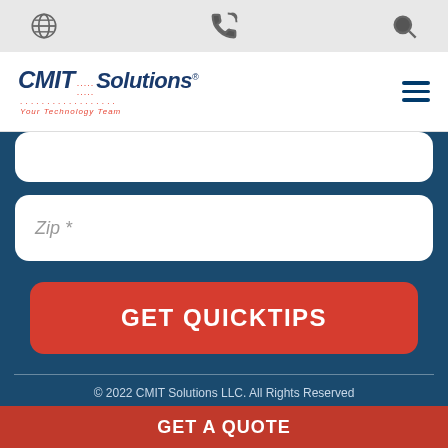[Figure (screenshot): Top navigation bar with globe icon, phone icon, and search icon on gray background]
[Figure (logo): CMIT Solutions logo with red dots pattern, tagline 'Your Technology Team' and hamburger menu icon]
Zip *
GET QUICKTIPS
© 2022 CMIT Solutions LLC. All Rights Reserved | Corporate Site
GET A QUOTE